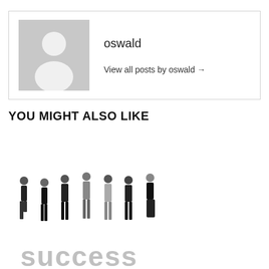[Figure (illustration): Author profile box with grey placeholder avatar icon (silhouette of a person) and text showing author name 'oswald' and link 'View all posts by oswald →']
oswald
View all posts by oswald →
YOU MIGHT ALSO LIKE
[Figure (photo): Group of seven business people standing on large 3D letters spelling 'success', dressed in formal/business attire, standing with arms crossed or casual poses]